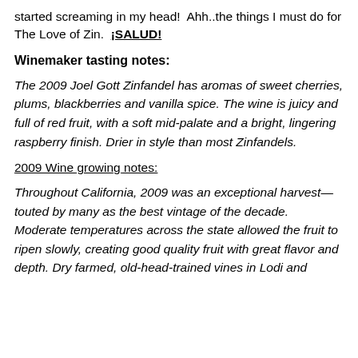started screaming in my head!  Ahh..the things I must do for The Love of Zin.  ¡SALUD!
Winemaker tasting notes:
The 2009 Joel Gott Zinfandel has aromas of sweet cherries, plums, blackberries and vanilla spice. The wine is juicy and full of red fruit, with a soft mid-palate and a bright, lingering raspberry finish. Drier in style than most Zinfandels.
2009 Wine growing notes:
Throughout California, 2009 was an exceptional harvest—touted by many as the best vintage of the decade. Moderate temperatures across the state allowed the fruit to ripen slowly, creating good quality fruit with great flavor and depth. Dry farmed, old-head-trained vines in Lodi and